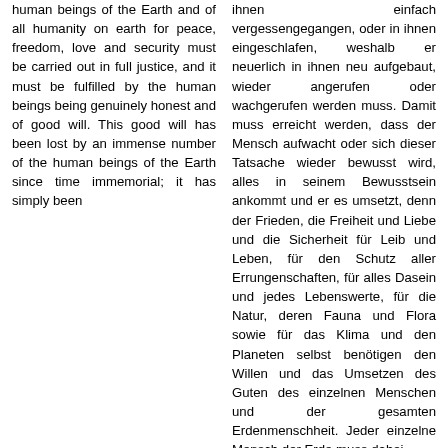human beings of the Earth and of all humanity on earth for peace, freedom, love and security must be carried out in full justice, and it must be fulfilled by the human beings being genuinely honest and of good will. This good will has been lost by an immense number of the human beings of the Earth since time immemorial; it has simply been
ihnen einfach vergessengegangen, oder in ihnen eingeschlafen, weshalb er neuerlich in ihnen neu aufgebaut, wieder angerufen oder wachgerufen werden muss. Damit muss erreicht werden, dass der Mensch aufwacht oder sich dieser Tatsache wieder bewusst wird, alles in seinem Bewusstsein ankommt und er es umsetzt, denn der Frieden, die Freiheit und Liebe und die Sicherheit für Leib und Leben, für den Schutz aller Errungenschaften, für alles Dasein und jedes Lebenswerte, für die Natur, deren Fauna und Flora sowie für das Klima und den Planeten selbst benötigen den Willen und das Umsetzen des Guten des einzelnen Menschen und der gesamten Erdenmenschheit. Jeder einzelne Mensch der Erde muss dabei